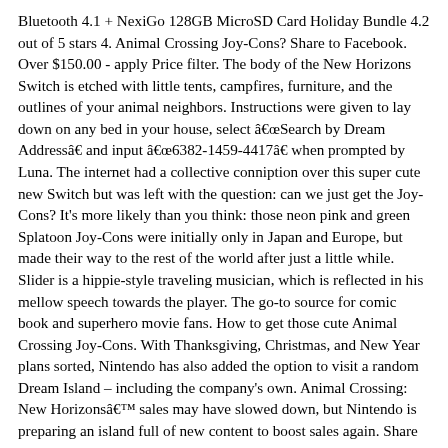Bluetooth 4.1 + NexiGo 128GB MicroSD Card Holiday Bundle 4.2 out of 5 stars 4. Animal Crossing Joy-Cons? Share to Facebook. Over $150.00 - apply Price filter. The body of the New Horizons Switch is etched with little tents, campfires, furniture, and the outlines of your animal neighbors. Instructions were given to lay down on any bed in your house, select âSearch by Dream Addressâ and input â6382-1459-4417â when prompted by Luna. The internet had a collective conniption over this super cute new Switch but was left with the question: can we just get the Joy-Cons? It's more likely than you think: those neon pink and green Splatoon Joy-Cons were initially only in Japan and Europe, but made their way to the rest of the world after just a little while. Slider is a hippie-style traveling musician, which is reflected in his mellow speech towards the player. The go-to source for comic book and superhero movie fans. How to get those cute Animal Crossing Joy-Cons. With Thanksgiving, Christmas, and New Year plans sorted, Nintendo has also added the option to visit a random Dream Island – including the company's own. Animal Crossing: New Horizonsâ sales may have slowed down, but Nintendo is preparing an island full of new content to boost sales again. Share the best GIFs now >>> As it is now, a shiny new Animal Crossing: New Horizons Switch is a whopping $300. Nintendo recently unveiled an Animal Crossing: New Horizons-themed Nintendo Switch to go along with the game's impending March 20 release, and chief amongst its incredible qualities are its immaculate